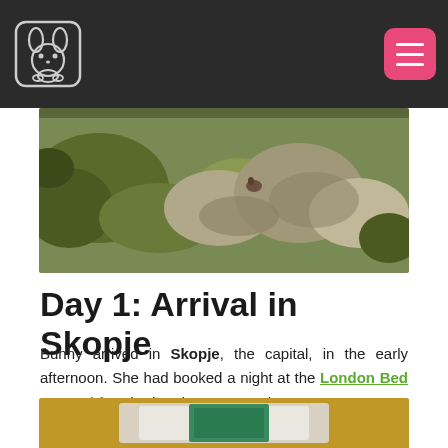Navigation bar with logo and menu button
[Figure (photo): Outdoor nature scene showing rocks covered with moss and vegetation, with a small animal visible among the rocks.]
Day 1: Arrival in Skopje
Bunny arrived in Skopje, the capital, in the early afternoon. She had booked a night at the London Bed & Breakfast in the city centre to have easy access to all the main sights.
[Figure (photo): Partial view of a room or artwork with golden/yellow background, bottom portion only visible.]